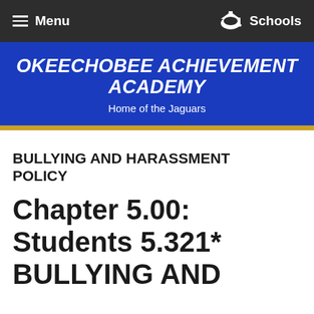Menu   Schools
OKEECHOBEE ACHIEVEMENT ACADEMY
Home of the Jaguars
BULLYING AND HARASSMENT POLICY
Chapter 5.00:
Students 5.321*
BULLYING AND